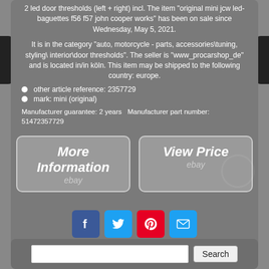2 led door thresholds (left + right) incl. The item "original mini jcw led-baguettes f56 f57 john cooper works" has been on sale since Wednesday, May 5, 2021.
It is in the category "auto, motorcycle - parts, accessories\tuning, styling\interior\door thresholds". The seller is "www_procarshop_de" and is located in/in köln. This item may be shipped to the following country: europe.
other article reference: 2357729
mark: mini (original)
Manufacturer guarantee: 2 years Manufacturer part number: 51472357729
[Figure (screenshot): Two eBay buttons: 'More Information' and 'View Price']
[Figure (infographic): Social media share icons: Facebook, Twitter, Pinterest, Email]
[Figure (screenshot): Search bar with Search button]